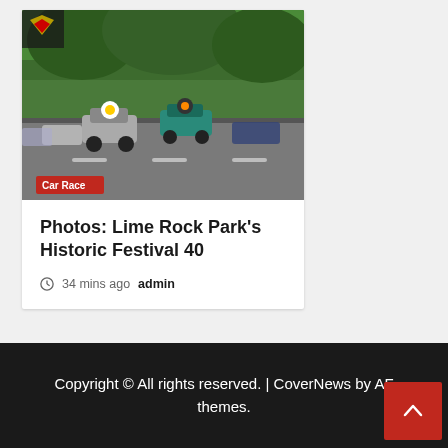[Figure (photo): Photo of racing cars on track at Lime Rock Park's Historic Festival 40. Multiple open-wheel and sports cars racing on a circuit surrounded by green trees. A Corvette logo appears in the top-left corner.]
Car Race
Photos: Lime Rock Park's Historic Festival 40
34 mins ago  admin
Copyright © All rights reserved. | CoverNews by AF themes.